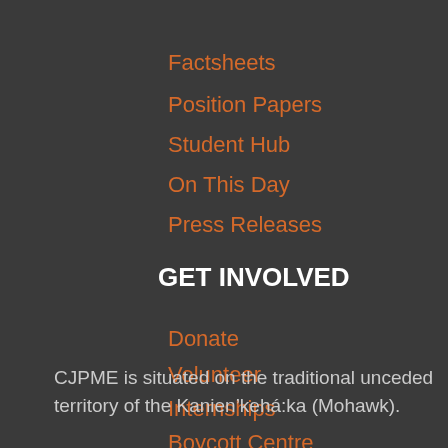Factsheets
Position Papers
Student Hub
On This Day
Press Releases
GET INVOLVED
Donate
Volunteer
Internships
Boycott Centre
Campaigns
CJPME is situated on the traditional unceded territory of the Kanien’kehá:ka (Mohawk).